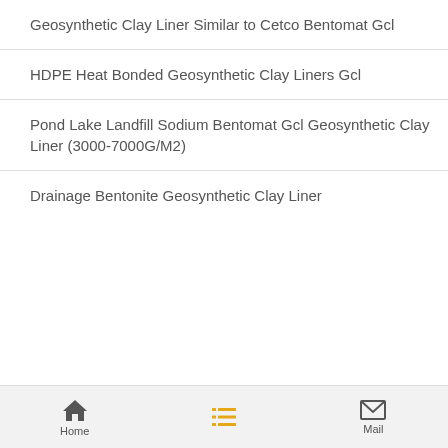Geosynthetic Clay Liner Similar to Cetco Bentomat Gcl
HDPE Heat Bonded Geosynthetic Clay Liners Gcl
Pond Lake Landfill Sodium Bentomat Gcl Geosynthetic Clay Liner (3000-7000G/M2)
Drainage Bentonite Geosynthetic Clay Liner
Home  Mail